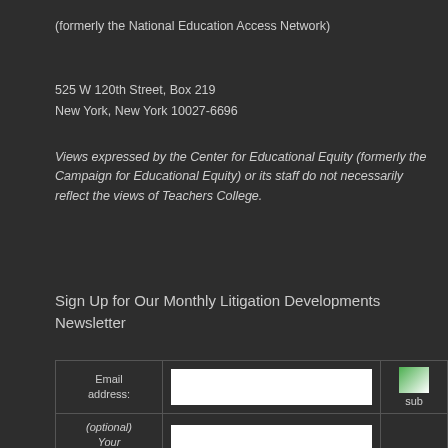(formerly the National Education Access Network)
525 W 120th Street, Box 219
New York, New York 10027-6696
Views expressed by the Center for Educational Equity (formerly the Campaign for Educational Equity) or its staff do not necessarily reflect the views of Teachers College.
Sign Up for Our Monthly Litigation Developments Newsletter
| Email address: |  | sub |
| --- | --- | --- |
| Email address: | (input box) | sub |
| (optional) Your name: | (input box) |  |